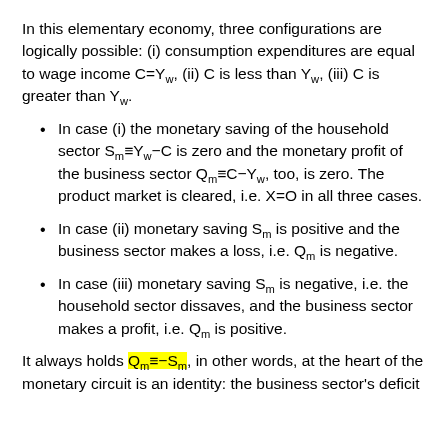In this elementary economy, three configurations are logically possible: (i) consumption expenditures are equal to wage income C=Yw, (ii) C is less than Yw, (iii) C is greater than Yw.
In case (i) the monetary saving of the household sector Sm≡Yw−C is zero and the monetary profit of the business sector Qm≡C−Yw, too, is zero. The product market is cleared, i.e. X=O in all three cases.
In case (ii) monetary saving Sm is positive and the business sector makes a loss, i.e. Qm is negative.
In case (iii) monetary saving Sm is negative, i.e. the household sector dissaves, and the business sector makes a profit, i.e. Qm is positive.
It always holds Qm≡−Sm, in other words, at the heart of the monetary circuit is an identity: the business sector's deficit